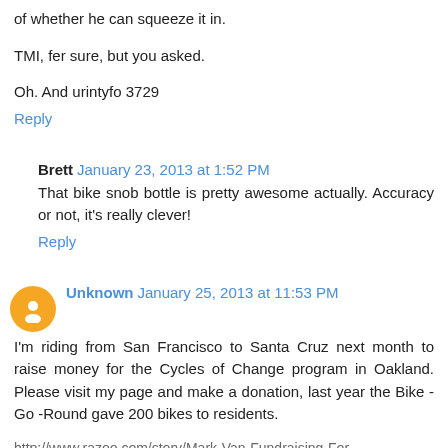of whether he can squeeze it in.
TMI, fer sure, but you asked.
Oh. And urintyfo 3729
Reply
Brett  January 23, 2013 at 1:52 PM
That bike snob bottle is pretty awesome actually. Accuracy or not, it's really clever!
Reply
Unknown  January 25, 2013 at 11:53 PM
I'm riding from San Francisco to Santa Cruz next month to raise money for the Cycles of Change program in Oakland. Please visit my page and make a donation, last year the Bike -Go -Round gave 200 bikes to residents.
http://www.razoo.com/story/Mark-Van-Fundraising-For-